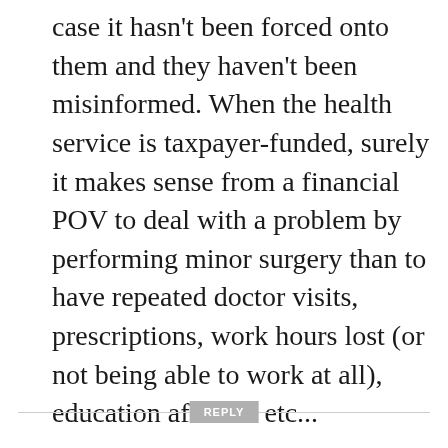case it hasn't been forced onto them and they haven't been misinformed. When the health service is taxpayer-funded, surely it makes sense from a financial POV to deal with a problem by performing minor surgery than to have repeated doctor visits, prescriptions, work hours lost (or not being able to work at all), education affected etc...